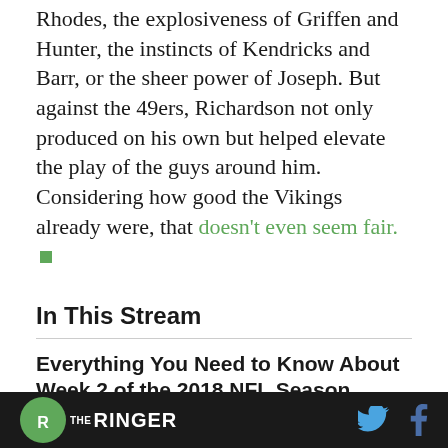Rhodes, the explosiveness of Griffen and Hunter, the instincts of Kendricks and Barr, or the sheer power of Joseph. But against the 49ers, Richardson not only produced on his own but helped elevate the play of the guys around him. Considering how good the Vikings already were, that doesn't even seem fair. ■
In This Stream
Everything You Need to Know About Week 2 of the 2018 NFL Season
• Week 2 Reaction...
THE RINGER